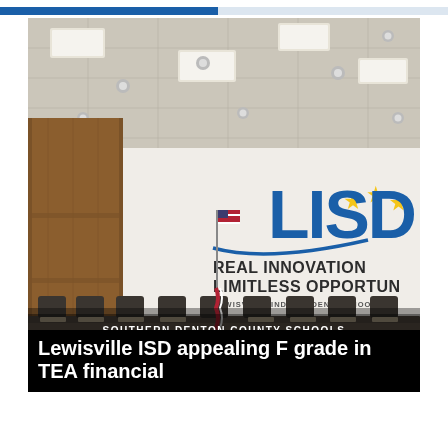[Figure (photo): Interior of a school board meeting room with a long dais, chairs, an American flag, and a large wall featuring the LISD (Lewisville Independent School District) logo with stars and the text: LISD REAL INNOVATION LIMITLESS OPPORTUN... and LEWISVILLE INDEPENDENT SCHOOL DI...]
SOUTHERN DENTON COUNTY SCHOOLS
Lewisville ISD appealing F grade in TEA financial